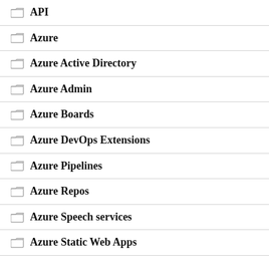API
Azure
Azure Active Directory
Azure Admin
Azure Boards
Azure DevOps Extensions
Azure Pipelines
Azure Repos
Azure Speech services
Azure Static Web Apps